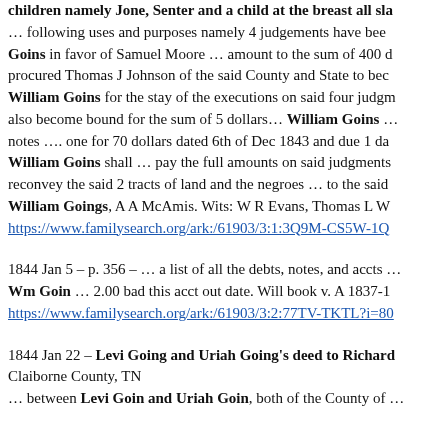children namely Jone, Senter and a child at the breast all sla… … following uses and purposes namely 4 judgements have been … Goins in favor of Samuel Moore … amount to the sum of 400 d… procured Thomas J Johnson of the said County and State to bec… William Goins for the stay of the executions on said four judgm… also become bound for the sum of 5 dollars… William Goins … notes …. one for 70 dollars dated 6th of Dec 1843 and due 1 da… William Goins shall … pay the full amounts on said judgments… reconvey the said 2 tracts of land and the negroes … to the said … William Goings, A A McAmis. Wits: W R Evans, Thomas L W… https://www.familysearch.org/ark:/61903/3:1:3Q9M-CS5W-1Q…
1844 Jan 5 – p. 356 – … a list of all the debts, notes, and accts … Wm Goin … 2.00 bad this acct out date. Will book v. A 1837-1… https://www.familysearch.org/ark:/61903/3:2:77TV-TKTL?i=80…
1844 Jan 22 – Levi Going and Uriah Going's deed to Richard… Claiborne County, TN … between Levi Goin and Uriah Goin, both of the County of …